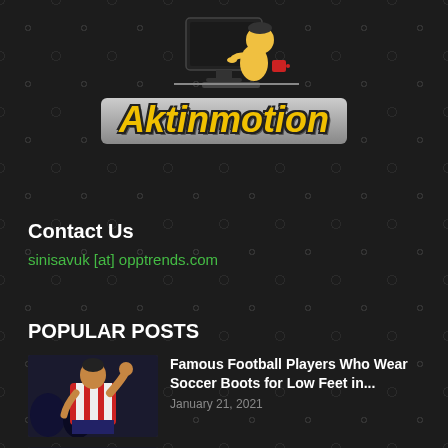[Figure (logo): Aktinmotion website logo with cartoon illustration of person working at computer with red coffee cup, yellow bold italic text 'Aktinmotion' on grey banner]
Contact Us
sinisavuk [at] opptrends.com
POPULAR POSTS
[Figure (photo): Football player in red and white striped jersey with fist raised]
Famous Football Players Who Wear Soccer Boots for Low Feet in...
January 21, 2021
[Figure (photo): Soccer player photo thumbnail]
5 Things Every Soccer Player With Flat Feet